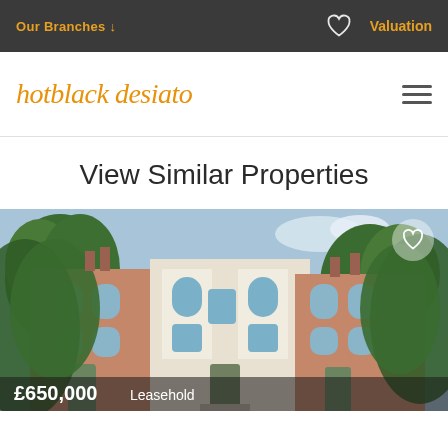Our Branches ↓   ♡   Valuation
hotblack desiato
View Similar Properties
[Figure (photo): Exterior photograph of a Victorian terraced house with brick facade, white rendered bay windows, trees in foreground. Price overlay showing £650,000 Leasehold.]
£650,000  Leasehold